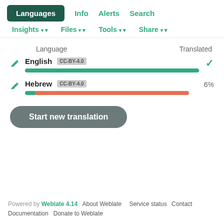Languages  Info  Alerts  Search
Insights  Files  Tools  Share
| Language | Translated |
| --- | --- |
| English  CC-BY-4.0 | ✓ |
| Hebrew  CC-BY-4.0 | 6% |
Start new translation
Powered by Weblate 4.14  About Weblate  Service status  Contact  Documentation  Donate to Weblate